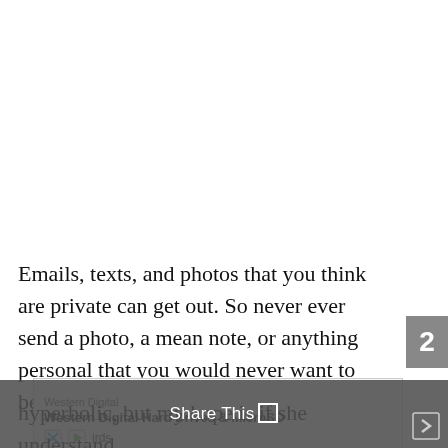Emails, texts, and photos that you think are private can get out. So never ever send a photo, a mean note, or anything personal that you would never want to become public.
[Figure (other): Page number tab '2' on right side, gray rectangular tab]
[Figure (other): Advertisement banner for Western Digital Hard Drives & MicroSD with X and play icons and text 'irds']
hyperbolic, but my hope is if she understand the premise from the start, my daughter will
[Figure (other): Gray overlay bar at bottom with 'Share This' text and box icon, and right arrow on bottom right]